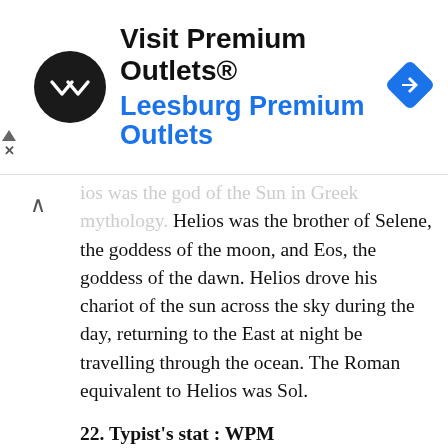[Figure (other): Advertisement banner for Leesburg Premium Outlets with black circular logo containing white arrows, navigation icon on right, and blue subtitle text]
ios was the god of the Sun in Greek mythology. Helios was the brother of Selene, the goddess of the moon, and Eos, the goddess of the dawn. Helios drove his chariot of the sun across the sky during the day, returning to the East at night be travelling through the ocean. The Roman equivalent to Helios was Sol.
22. Typist's stat : WPM
Words per minute (WPM)
24. A deadly sin : SLOTH
The cardinal sins of Christian ethics are also known as the seven deadly sins. The seven deadly sins are: